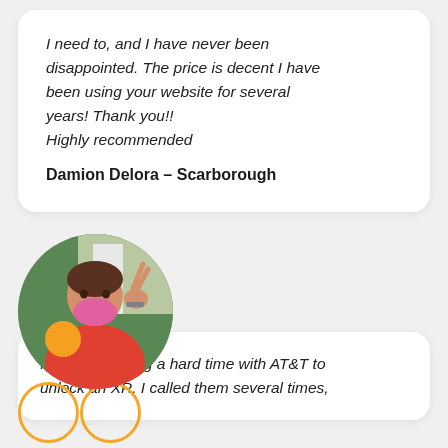I need to, and I have never been disappointed. The price is decent I have been using your website for several years! Thank you!! Highly recommended
Damion Delora – Scarborough
[Figure (photo): Circular profile photo of a woman in a red shirt wearing a pink mask, making a peace sign and holding a drink, with a green outdoor background.]
I've been having a hard time with AT&T to unlock an XR. I called them several times,